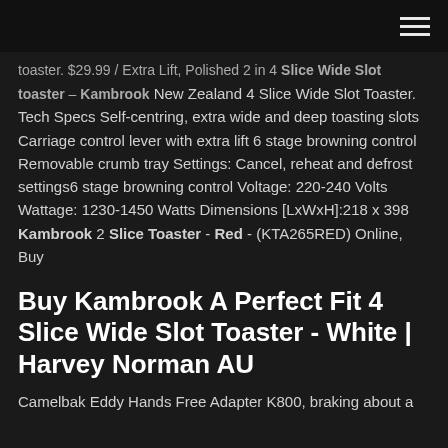[navigation bar with hamburger menu]
toaster. $29.99 / Extra Lift, Polished 2 in 4 Slice Wide Slot toaster – Kambrook New Zealand 4 Slice Wide Slot Toaster. Tech Specs Self-centring, extra wide and deep toasting slots Carriage control lever with extra lift 6 stage browning control Removable crumb tray Settings: Cancel, reheat and defrost settings6 stage browning control Voltage: 220-240 Volts Wattage: 1230-1450 Watts Dimensions [LxWxH]:218 x 398 Kambrook 2 Slice Toaster - Red - (KTA265RED) Online, Buy
Buy Kambrook A Perfect Fit 4 Slice Wide Slot Toaster - White | Harvey Norman AU
Camelbak Eddy Hands Free Adapter K800, braking about a